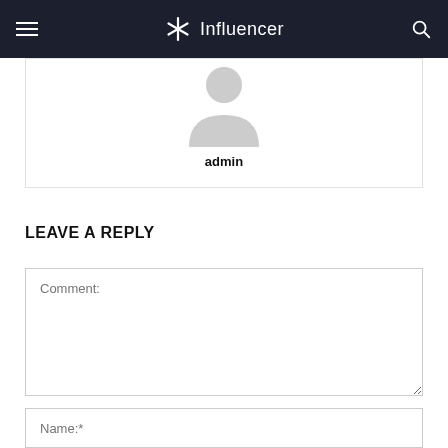Influencer
[Figure (illustration): Author avatar placeholder icon (silhouette of a person)]
admin
LEAVE A REPLY
Comment:
Name:*